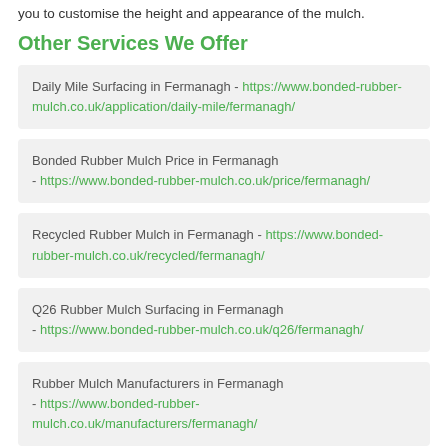you to customise the height and appearance of the mulch.
Other Services We Offer
Daily Mile Surfacing in Fermanagh - https://www.bonded-rubber-mulch.co.uk/application/daily-mile/fermanagh/
Bonded Rubber Mulch Price in Fermanagh - https://www.bonded-rubber-mulch.co.uk/price/fermanagh/
Recycled Rubber Mulch in Fermanagh - https://www.bonded-rubber-mulch.co.uk/recycled/fermanagh/
Q26 Rubber Mulch Surfacing in Fermanagh - https://www.bonded-rubber-mulch.co.uk/q26/fermanagh/
Rubber Mulch Manufacturers in Fermanagh - https://www.bonded-rubber-mulch.co.uk/manufacturers/fermanagh/